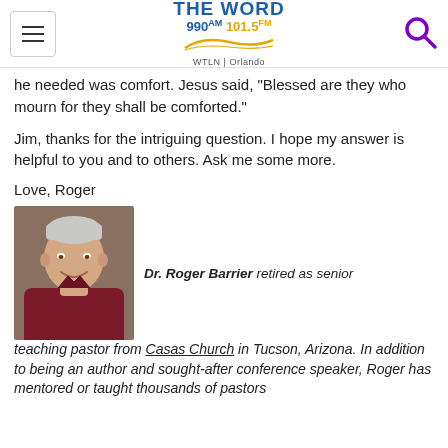THE WORD 990AM 101.5FM WTLN | Orlando
he needed was comfort. Jesus said, "Blessed are they who mourn for they shall be comforted."
Jim, thanks for the intriguing question. I hope my answer is helpful to you and to others. Ask me some more.
Love, Roger
[Figure (photo): Headshot photo of Dr. Roger Barrier, an older man with grey-white hair wearing a dark red/maroon shirt, smiling, against a brown background.]
Dr. Roger Barrier retired as senior teaching pastor from Casas Church in Tucson, Arizona. In addition to being an author and sought-after conference speaker, Roger has mentored or taught thousands of pastors